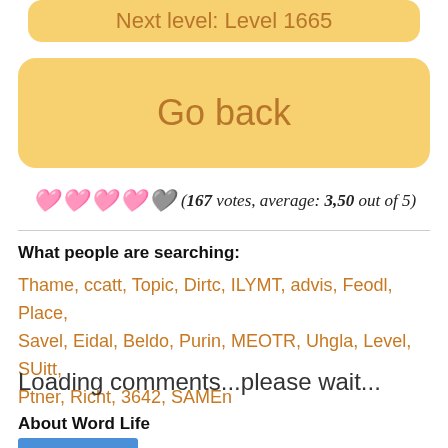Next level: Level 1665
Go back
♥♥♥♥♡ (167 votes, average: 3,50 out of 5)
What people are searching:
Thame, ccatt, Topic, Dirtc, ILYMT, advis, Feodl, Place, Savel, Eidal, Beldo, Purin, MEOTR, Uhgla, Level, SUitt, Ptner, Richt, 3642, SAMEn
Loading comments...please wait...
About Word Life